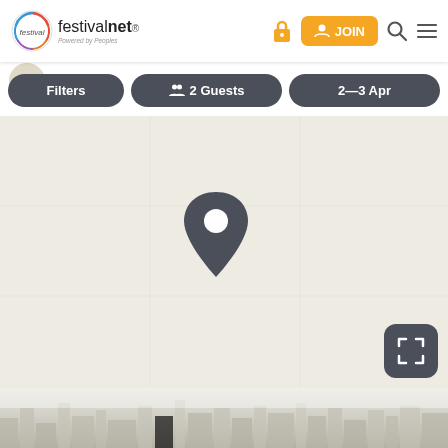[Figure (screenshot): FestivalNet website header with logo, lock icon, orange JOIN button, search icon, and hamburger menu]
[Figure (screenshot): Filter bar with three pill-shaped buttons: Filters, 2 Guests (with people icon), and 2-3 Apr (date range)]
[Figure (map): Light beige map area with a dark gray location pin marker in the center, and a fullscreen/expand button in the bottom right corner]
[Figure (photo): City skyline visible at the bottom of the page, faded/blurred]